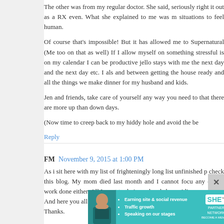The other was from my regular doctor. She said, seriously right it out as a RX even. What she explained to me was m situations to feel human.
Of course that's impossible! But it has allowed me to Supernatural (Me too on that as well) If I allow myself on something stressful is on my calendar I can be productive jello stays with me the next day and the next day etc. I als and between getting the house ready and all the things we make dinner for my husband and kids.
Jen and friends, take care of yourself any way you need to that there are more up than down days.
(Now time to creep back to my hiddy hole and avoid the be
Reply
FM  November 9, 2015 at 1:00 PM
As i sit here with my list of frighteningly long list unfinished p check this blog. My mom died last month and I cannot focu any of my work done either. All I want to do is read and sle avoiding.
And here you all are, my compatriots, as we tell each Thanks.
[Figure (infographic): SHE Partner Network advertisement banner with woman photo, bullet points (Earning site & social revenue, Traffic growth, Speaking on our stages), SHE logo, PARTNER NETWORK BECOME A MEMBER text, and LEARN MORE button]